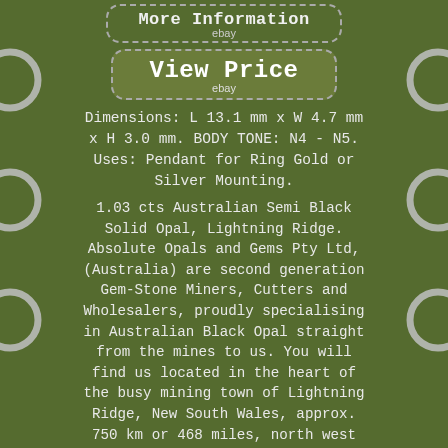[Figure (other): eBay 'More Information' button styled with dashed border and rounded corners]
[Figure (other): eBay 'View Price' button styled with dashed border and rounded corners]
Dimensions: L 13.1 mm x W 4.7 mm x H 3.0 mm. BODY TONE: N4 - N5. Uses: Pendant for Ring Gold or Silver Mounting.
1.03 cts Australian Semi Black Solid Opal, Lightning Ridge. Absolute Opals and Gems Pty Ltd, (Australia) are second generation Gem-Stone Miners, Cutters and Wholesalers, proudly specialising in Australian Black Opal straight from the mines to us. You will find us located in the heart of the busy mining town of Lightning Ridge, New South Wales, approx. 750 km or 468 miles, north west of Sydney, Australia. Lightning